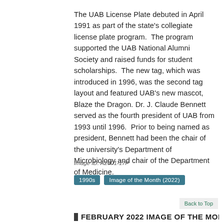The UAB License Plate debuted in April 1991 as part of the state's collegiate license plate program.  The program supported the UAB National Alumni Society and raised funds for student scholarships.  The new tag, which was introduced in 1996, was the second tag layout and featured UAB's new mascot, Blaze the Dragon.  Dr. J. Claude Bennett served as the fourth president of UAB from 1993 until 1996.  Prior to being named as president, Bennett had been the chair of the university's Department of Microbiology and chair of the Department of Medicine.
Image ID: A2001-17P
1990s   Image of the Month (2022)
Back to Top
FEBRUARY 2022 IMAGE OF THE MONTH